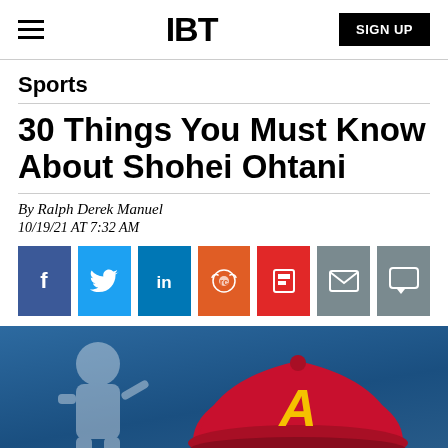IBT
Sports
30 Things You Must Know About Shohei Ohtani
By Ralph Derek Manuel
10/19/21 AT 7:32 AM
[Figure (photo): Photo of a red Los Angeles Angels baseball cap with the 'A' logo, in front of an MLB batter logo on a blue background]